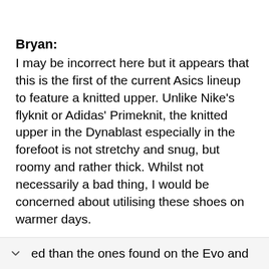Bryan: I may be incorrect here but it appears that this is the first of the current Asics lineup to feature a knitted upper. Unlike Nike's flyknit or Adidas' Primeknit, the knitted upper in the Dynablast especially in the forefoot is not stretchy and snug, but roomy and rather thick. Whilst not necessarily a bad thing, I would be concerned about utilising these shoes on warmer days.

Despite the voluminous toe box, the upper is partially saved by the tongue and heel counter. The tongue like the Novablast's is more modern looking and less [pad]ed than the ones found on the Evo and